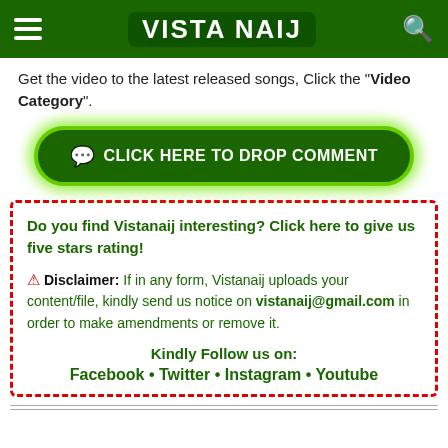VISTA NAIJ
Get the video to the latest released songs, Click the "Video Category".
[Figure (other): Green button: CLICK HERE TO DROP COMMENT]
Do you find Vistanaij interesting? Click here to give us five stars rating!
⚠ Disclaimer: If in any form, Vistanaij uploads your content/file, kindly send us notice on vistanaij@gmail.com in order to make amendments or remove it.
Kindly Follow us on:
Facebook • Twitter • Instagram • Youtube